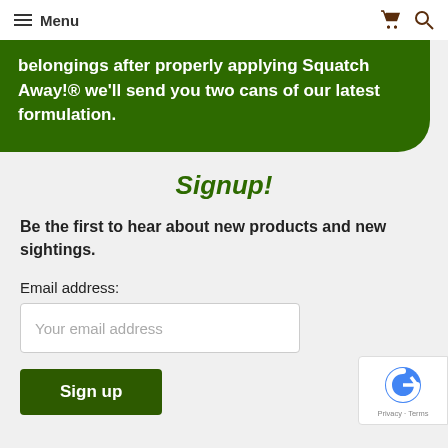Menu
belongings after properly applying Squatch Away!® we'll send you two cans of our latest formulation.
Signup!
Be the first to hear about new products and new sightings.
Email address:
Your email address
Sign up